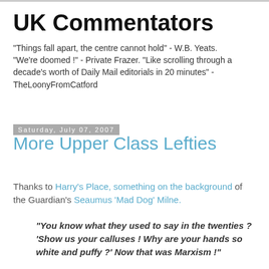UK Commentators
"Things fall apart, the centre cannot hold" - W.B. Yeats. "We're doomed !" - Private Frazer. "Like scrolling through a decade's worth of Daily Mail editorials in 20 minutes" - TheLoonyFromCatford
Saturday, July 07, 2007
More Upper Class Lefties
Thanks to Harry's Place, something on the background of the Guardian's Seaumus 'Mad Dog' Milne.
"You know what they used to say in the twenties ? 'Show us your calluses ! Why are your hands so white and puffy ?' Now that was Marxism !"